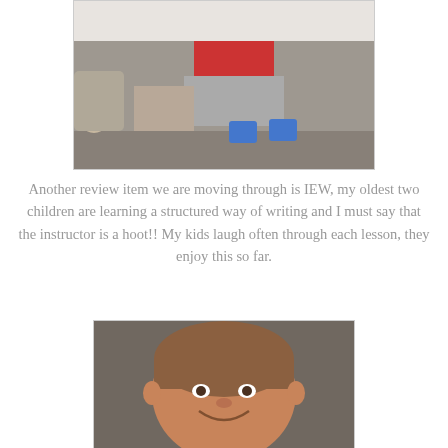[Figure (photo): Photo of children sitting on a couch, partially visible legs wearing blue socks, with a cat visible at the left edge]
Another review item we are moving through is IEW, my oldest two children are learning a structured way of writing and I must say that the instructor is a hoot!! My kids laugh often through each lesson, they enjoy this so far.
[Figure (photo): Photo of a smiling child holding up a book open to a page showing a drawing of a person wearing a hat]